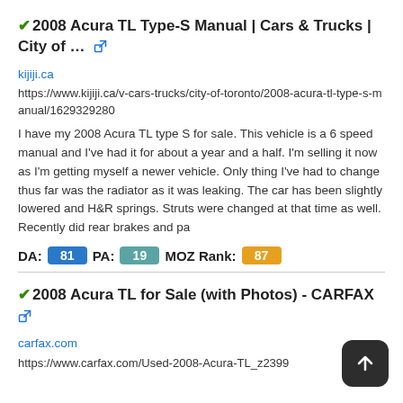✔2008 Acura TL Type-S Manual | Cars & Trucks | City of … 🔗
kijiji.ca
https://www.kijiji.ca/v-cars-trucks/city-of-toronto/2008-acura-tl-type-s-manual/1629329280
I have my 2008 Acura TL type S for sale. This vehicle is a 6 speed manual and I've had it for about a year and a half. I'm selling it now as I'm getting myself a newer vehicle. Only thing I've had to change thus far was the radiator as it was leaking. The car has been slightly lowered and H&amp;R springs. Struts were changed at that time as well. Recently did rear brakes and pa
DA: 81  PA: 19  MOZ Rank: 87
✔2008 Acura TL for Sale (with Photos) - CARFAX 🔗
carfax.com
https://www.carfax.com/Used-2008-Acura-TL_z2399